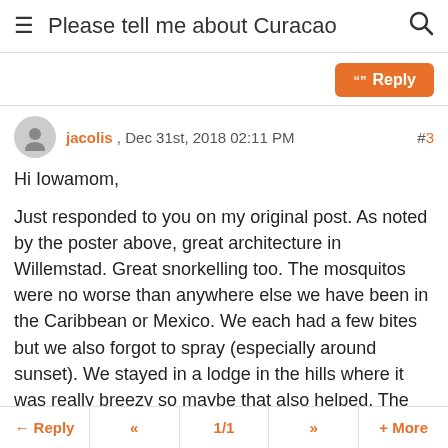Please tell me about Curacao
Reply
jacolis , Dec 31st, 2018 02:11 PM  #3
Hi Iowamom,
Just responded to you on my original post. As noted by the poster above, great architecture in Willemstad. Great snorkelling too. The mosquitos were no worse than anywhere else we have been in the Caribbean or Mexico. We each had a few bites but we also forgot to spray (especially around sunset). We stayed in a lodge in the hills where it was really breezy so maybe that also helped. The weather is fantastic - it is hot but because it is dry it is humid and there are constant tradewinds. So you don't have the stifling humidity. You will have good hiking in Christoffel
Reply  «  1/1  »  + More